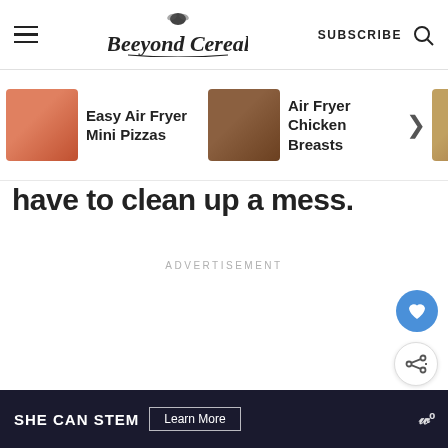Beeyond Cereal | SUBSCRIBE
[Figure (screenshot): Carousel of recipe cards: Easy Air Fryer Mini Pizzas, Air Fryer Chicken Breasts, Air Fryer Chicken Breasts (partial)]
have to clean up a mess.
ADVERTISEMENT
[Figure (infographic): Heart favorite button (blue circle with white heart icon)]
[Figure (infographic): Share button (white circle with share icon)]
[Figure (infographic): What's Next: Air Fryer Tortilla Pizza with pizza thumbnail]
SHE CAN STEM | Learn More